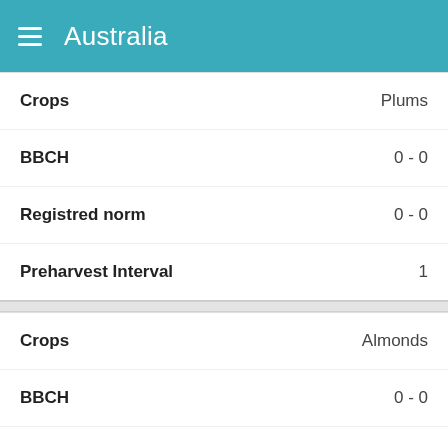Australia
| Field | Value |
| --- | --- |
| Crops | Plums |
| BBCH | 0 - 0 |
| Registred norm | 0 - 0 |
| Preharvest Interval | 1 |
| Field | Value |
| --- | --- |
| Crops | Almonds |
| BBCH | 0 - 0 |
| Registred norm | 0 - 0 |
| Preharvest Interval | 1 |